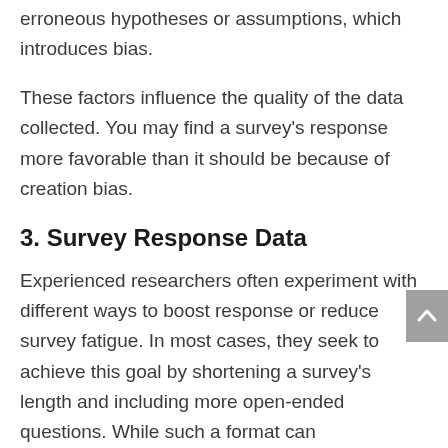erroneous hypotheses or assumptions, which introduces bias.
These factors influence the quality of the data collected. You may find a survey's response more favorable than it should be because of creation bias.
3. Survey Response Data
Experienced researchers often experiment with different ways to boost response or reduce survey fatigue. In most cases, they seek to achieve this goal by shortening a survey's length and including more open-ended questions. While such a format can